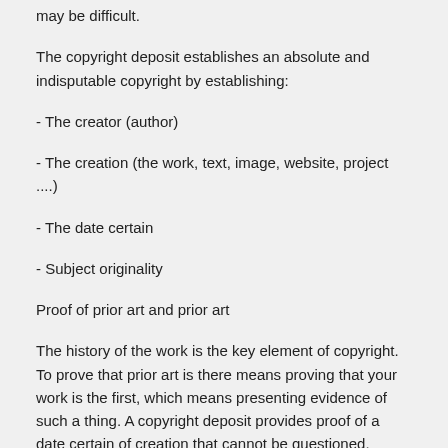may be difficult.
The copyright deposit establishes an absolute and indisputable copyright by establishing:
- The creator (author)
- The creation (the work, text, image, website, project ....)
- The date certain
- Subject originality
Proof of prior art and prior art
The history of the work is the key element of copyright. To prove that prior art is there means proving that your work is the first, which means presenting evidence of such a thing. A copyright deposit provides proof of a date certain of creation that cannot be questioned.
A copy of the creation + evidence of date of creation =